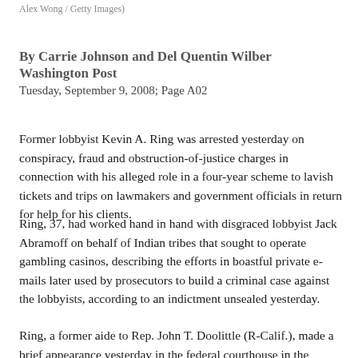Alex Wong / Getty Images)
By Carrie Johnson and Del Quentin Wilber
Washington Post
Tuesday, September 9, 2008; Page A02
Former lobbyist Kevin A. Ring was arrested yesterday on conspiracy, fraud and obstruction-of-justice charges in connection with his alleged role in a four-year scheme to lavish tickets and trips on lawmakers and government officials in return for help for his clients.
Ring, 37, had worked hand in hand with disgraced lobbyist Jack Abramoff on behalf of Indian tribes that sought to operate gambling casinos, describing the efforts in boastful private e-mails later used by prosecutors to build a criminal case against the lobbyists, according to an indictment unsealed yesterday.
Ring, a former aide to Rep. John T. Doolittle (R-Calif.), made a brief appearance yesterday in the federal courthouse in the